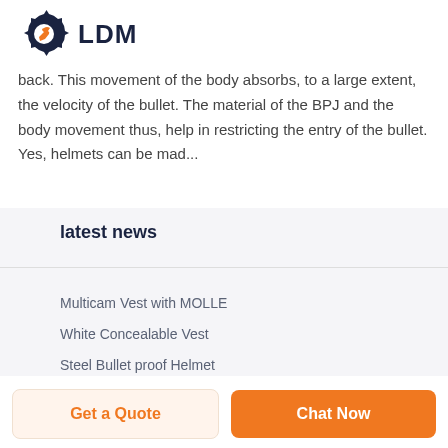[Figure (logo): LDM logo with gear and wrench icon in dark navy and orange]
back. This movement of the body absorbs, to a large extent, the velocity of the bullet. The material of the BPJ and the body movement thus, help in restricting the entry of the bullet. Yes, helmets can be mad...
latest news
Multicam Vest with MOLLE
White Concealable Vest
Steel Bullet proof Helmet
Get a Quote   Chat Now